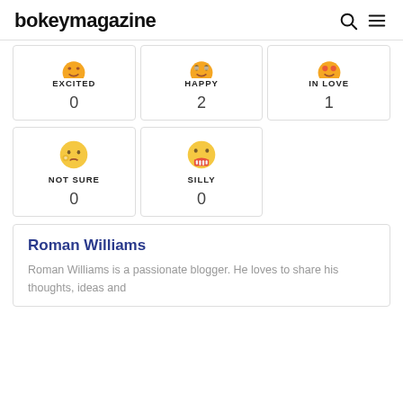bokeymagazine
| EXCITED | HAPPY | IN LOVE |
| --- | --- | --- |
| 0 | 2 | 1 |
| NOT SURE | SILLY |
| --- | --- |
| 0 | 0 |
Roman Williams
Roman Williams is a passionate blogger. He loves to share his thoughts, ideas and